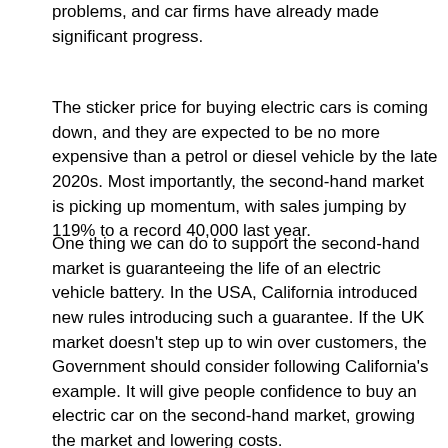problems, and car firms have already made significant progress.
The sticker price for buying electric cars is coming down, and they are expected to be no more expensive than a petrol or diesel vehicle by the late 2020s. Most importantly, the second-hand market is picking up momentum, with sales jumping by 119% to a record 40,000 last year.
One thing we can do to support the second-hand market is guaranteeing the life of an electric vehicle battery. In the USA, California introduced new rules introducing such a guarantee. If the UK market doesn't step up to win over customers, the Government should consider following California's example. It will give people confidence to buy an electric car on the second-hand market, growing the market and lowering costs.
Importantly, we should also make the zero emission vehicle mandate as ambitious as possible - without putting UK car manufacturers at a disadvantage. This market solution asks car manufacturers to sell a certain proportion of electric vehicles. If they beat the target, they gain credits which they can sell to other car firms that are behind in selling electric vehicles. Front-loading this mechanism by setting bold, achievable targets now will greatly expand the market,